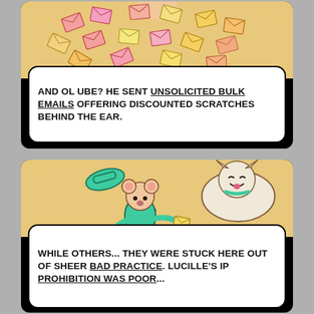[Figure (illustration): Comic panel showing a pile of colorful envelopes/letters in various colors (pink, yellow, orange) scattered in a heap against a tan/beige cloud-like background. A fist is visible at the top.]
AND OL UBE? HE SENT UNSOLICITED BULK EMAILS OFFERING DISCOUNTED SCRATCHES BEHIND THE EAR.
[Figure (illustration): Comic panel showing a cartoon mouse character in a green suit being chased/knocked around by a large white cartoon cat. The mouse is holding a yellow envelope and losing its teal hat. Both characters are on a tan/beige cloud-like background.]
WHILE OTHERS... THEY WERE STUCK HERE OUT OF SHEER BAD PRACTICE. LUCILLE'S IP PROHIBITION WAS POOR...